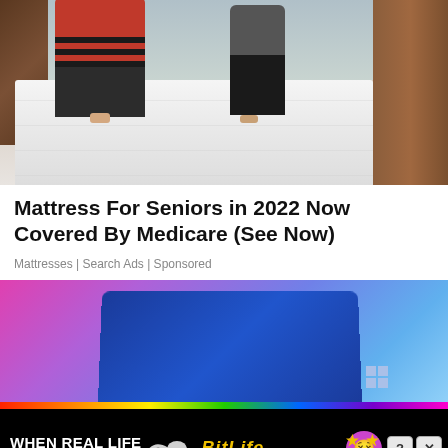[Figure (photo): Two people leaning over a large white mattress in a bedroom with wooden furniture and headboard]
Mattress For Seniors in 2022 Now Covered By Medicare (See Now)
Mattresses | Search Ads | Sponsored
[Figure (photo): Blue laptop computer on colorful purple/pink gradient background]
[Figure (infographic): BitLife game advertisement banner: 'WHEN REAL LIFE IS QUARANTINED' with rainbow strip, sperm icon, BitLife logo in gold, and emoji character icons]